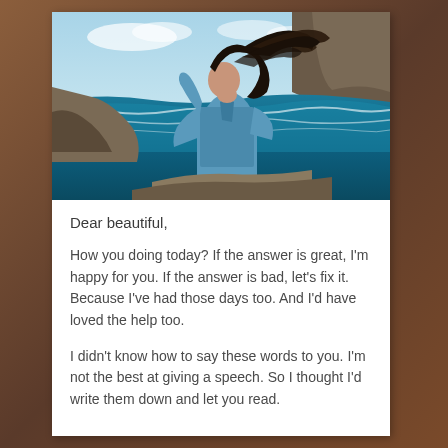[Figure (photo): A woman in a blue denim jacket standing on rocky coastal cliffs with wind blowing her long dark hair, ocean waves and blue sky in the background.]
Dear beautiful,
How you doing today? If the answer is great, I'm happy for you. If the answer is bad, let's fix it. Because I've had those days too. And I'd have loved the help too.
I didn't know how to say these words to you. I'm not the best at giving a speech. So I thought I'd write them down and let you read.